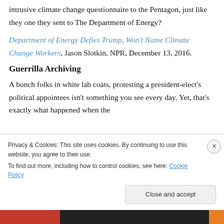intrusive climate change questionnaire to the Pentagon, just like they one they sent to The Department of Energy?
Department of Energy Defies Trump, Won't Name Climate Change Workers, Jason Slotkin, NPR, December 13, 2016.
Guerrilla Archiving
A bunch folks in white lab coats, protesting a president-elect's political appointees isn't something you see every day. Yet, that's exactly what happened when the
Privacy & Cookies: This site uses cookies. By continuing to use this website, you agree to their use.
To find out more, including how to control cookies, see here: Cookie Policy
Close and accept